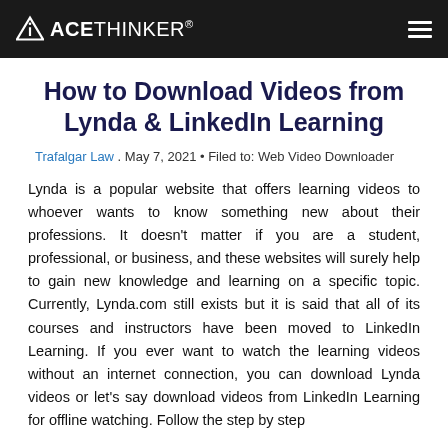ACETHINKER®
How to Download Videos from Lynda & LinkedIn Learning
Trafalgar Law . May 7, 2021 • Filed to: Web Video Downloader
Lynda is a popular website that offers learning videos to whoever wants to know something new about their professions. It doesn't matter if you are a student, professional, or business, and these websites will surely help to gain new knowledge and learning on a specific topic. Currently, Lynda.com still exists but it is said that all of its courses and instructors have been moved to LinkedIn Learning. If you ever want to watch the learning videos without an internet connection, you can download Lynda videos or let's say download videos from LinkedIn Learning for offline watching. Follow the step by step